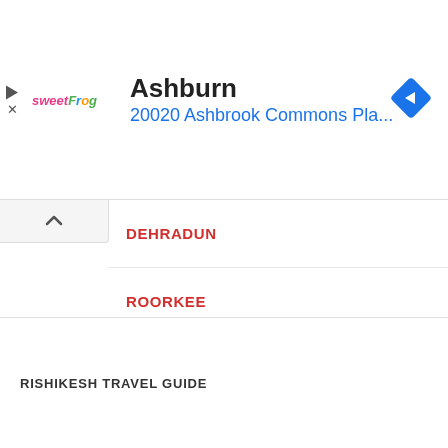[Figure (screenshot): Advertisement banner with sweetFrog logo, city name Ashburn, address 20020 Ashbrook Commons Pla..., and a blue navigation arrow icon]
DEHRADUN
ROORKEE
MUSSOORIE
LANSDOWNE
AULI
JOSHIMATH
BADRINATH
RISHIKESH TRAVEL GUIDE